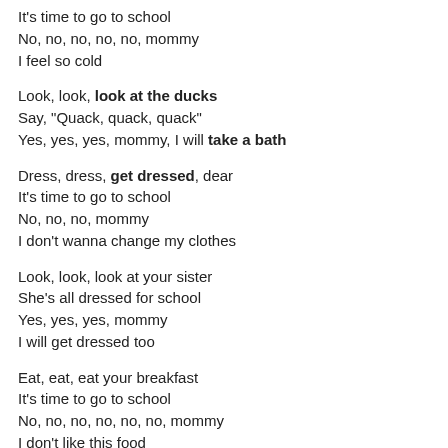It's time to go to school
No, no, no, no, no, mommy
I feel so cold
Look, look, look at the ducks
Say, "Quack, quack, quack"
Yes, yes, yes, mommy, I will take a bath
Dress, dress, get dressed, dear
It's time to go to school
No, no, no, mommy
I don't wanna change my clothes
Look, look, look at your sister
She's all dressed for school
Yes, yes, yes, mommy
I will get dressed too
Eat, eat, eat your breakfast
It's time to go to school
No, no, no, no, no, no, mommy
I don't like this food
Look, look, look at your brother
He's enjoying his food
Yes, yes, yes, mommy